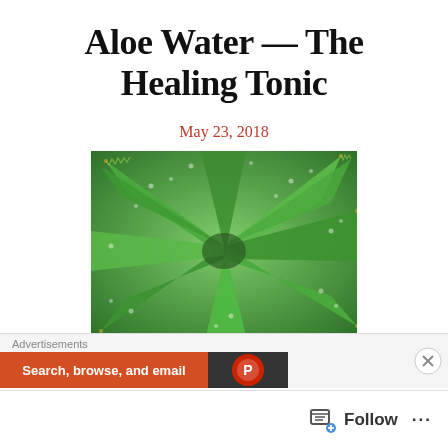Aloe Water — The Healing Tonic
May 23, 2018
[Figure (photo): Close-up photograph of aloe vera plant leaves, showing thick green succulent leaves with white speckles and serrated edges, viewed from above.]
Advertisements
Search, browse, and email